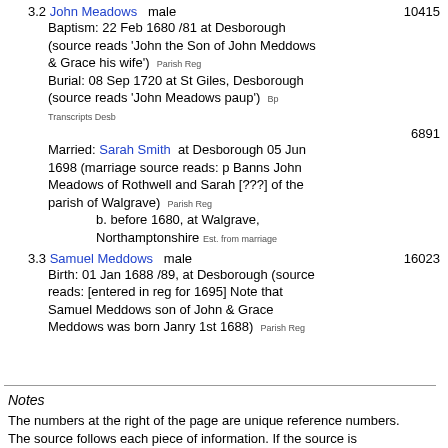3.2 John Meadows   male   10415
Baptism: 22 Feb 1680 /81 at Desborough (source reads 'John the Son of John Meddows & Grace his wife')  Parish Reg
Burial: 08 Sep 1720 at St Giles, Desborough (source reads 'John Meadows paup')  Bp Transcripts Desb
6891
Married: Sarah Smith  at Desborough 05 Jun 1698 (marriage source reads: p Banns John Meadows of Rothwell and Sarah [???] of the parish of Walgrave)  Parish Reg
b. before 1680, at Walgrave, Northamptonshire  Est. from marriage
3.3 Samuel Meddows   male   16023
Birth: 01 Jan 1688 /89, at Desborough (source reads: [entered in reg for 1695] Note that Samuel Meddows son of John & Grace Meddows was born Janry 1st 1688)  Parish Reg
Notes
The numbers at the right of the page are unique reference numbers.
The source follows each piece of information. If the source is